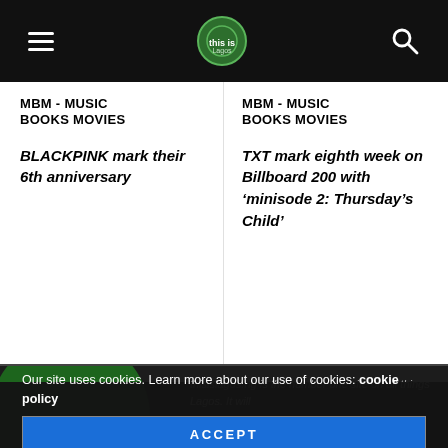MBM - MUSIC BOOKS MOVIES (navigation bar with hamburger menu, logo, and search icon)
MBM - MUSIC BOOKS MOVIES
BLACKPINK mark their 6th anniversary
MBM - MUSIC BOOKS MOVIES
TXT mark eighth week on Billboard 200 with ‘minisode 2: Thursday’s Child’
thisislagos.ng is the number one site on all things Lagos. It will
Our site uses cookies. Learn more about our use of cookies: cookie policy
ACCEPT